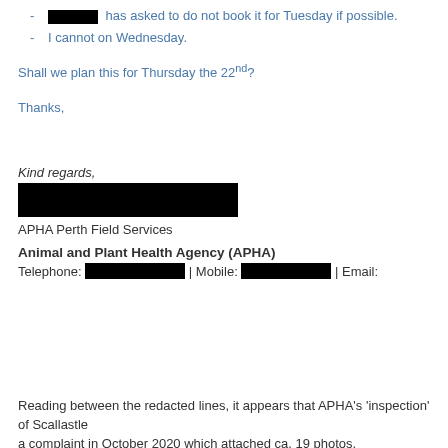[REDACTED] has asked to do not book it for Tuesday if possible.
I cannot on Wednesday.
Shall we plan this for Thursday the 22nd?
Thanks,
Kind regards,
[REDACTED]
APHA Perth Field Services
Animal and Plant Health Agency (APHA)
Telephone: [REDACTED] | Mobile: [REDACTED] | Email:
Reading between the redacted lines, it appears that APHA's 'inspection' of Scallastle a complaint in October 2020 which attached ca. 19 photos.